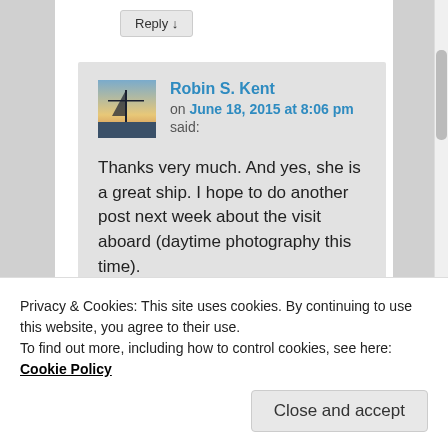Reply ↓
Robin S. Kent on June 18, 2015 at 8:06 pm said:
Thanks very much. And yes, she is a great ship. I hope to do another post next week about the visit aboard (daytime photography this time).
★ Liked by 1 person
Reply ↓
Privacy & Cookies: This site uses cookies. By continuing to use this website, you agree to their use.
To find out more, including how to control cookies, see here: Cookie Policy
Close and accept